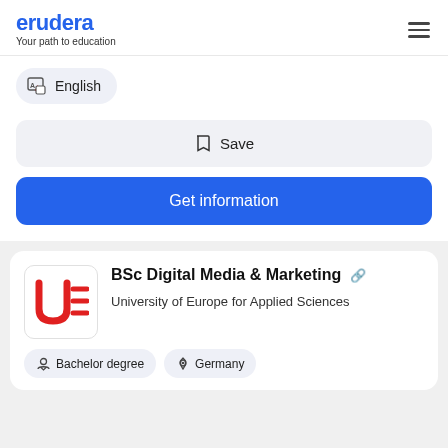erudera — Your path to education
English
Save
Get information
BSc Digital Media & Marketing
University of Europe for Applied Sciences
Bachelor degree
Germany